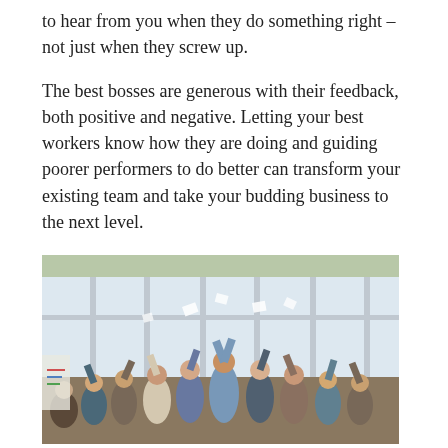to hear from you when they do something right – not just when they screw up.
The best bosses are generous with their feedback, both positive and negative. Letting your best workers know how they are doing and guiding poorer performers to do better can transform your existing team and take your budding business to the next level.
[Figure (photo): A group of diverse people in a bright office with large windows, celebrating and throwing papers in the air with their arms raised.]